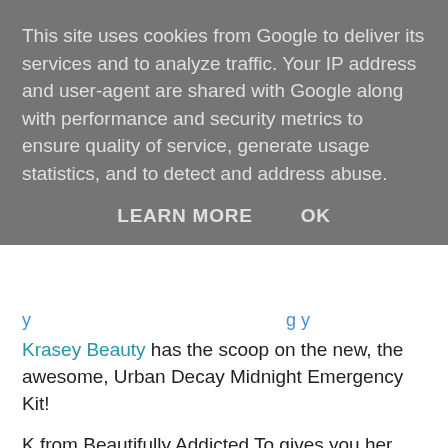This site uses cookies from Google to deliver its services and to analyze traffic. Your IP address and user-agent are shared with Google along with performance and security metrics to ensure quality of service, generate usage statistics, and to detect and address abuse.
LEARN MORE   OK
Krasey Beauty has the scoop on the new, the awesome, Urban Decay Midnight Emergency Kit!
K from Beautifully Addicted To gives you her opinion on MAC's Purple Majesty nail polish.
Kajal Couture reveals whether the $35 Boscia Black Mask is better than a $2 face mask.
Anita compares the new Mac Lighstcapade MSF with the old, prettier version over at Pleasureflush.